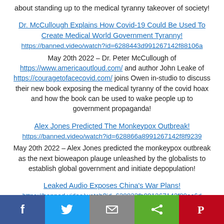about standing up to the medical tyranny takeover of society!
Dr. McCullough Explains How Covid-19 Could Be Used To Create Medical World Government Tyranny!
https://banned.video/watch?id=6288443d991267142f88106a
May 20th 2022 – Dr. Peter McCullough of https://www.americaoutloud.com/ and author John Leake of https://couragetofacecovid.com/ joins Owen in-studio to discuss their new book exposing the medical tyranny of the covid hoax and how the book can be used to wake people up to government propaganda!
Alex Jones Predicted The Monkeypox Outbreak!
https://banned.video/watch?id=628866a8991267142f8f9239
May 20th 2022 – Alex Jones predicted the monkeypox outbreak as the next bioweapon plauge unleashed by the globalists to establish global government and initiate depopulation!
Leaked Audio Exposes China's War Plans!
https://banned.video/watch?id=628823fb991267142f80ac6d